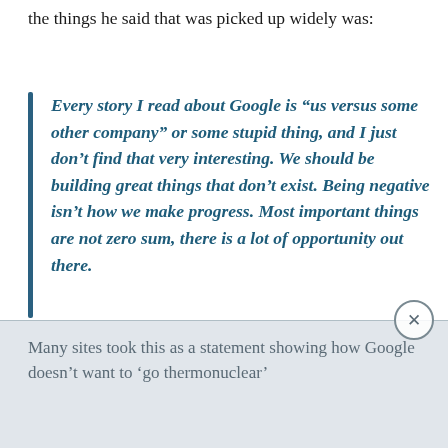the things he said that was picked up widely was:
Every story I read about Google is “us versus some other company” or some stupid thing, and I just don’t find that very interesting. We should be building great things that don’t exist. Being negative isn’t how we make progress. Most important things are not zero sum, there is a lot of opportunity out there.
Many sites took this as a statement showing how Google doesn’t want to ‘go thermonuclear’